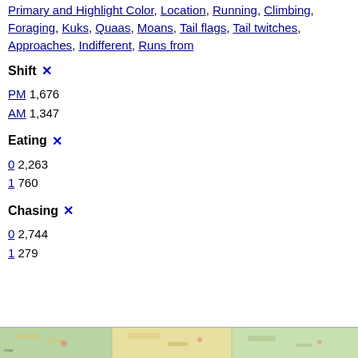Primary and Highlight Color, Location, Running, Climbing, Foraging, Kuks, Quaas, Moans, Tail flags, Tail twitches, Approaches, Indifferent, Runs from
Shift ✕
PM 1,676
AM 1,347
Eating ✕
0 2,263
1 760
Chasing ✕
0 2,744
1 279
[Figure (map): Partial map strip visible at bottom of page]